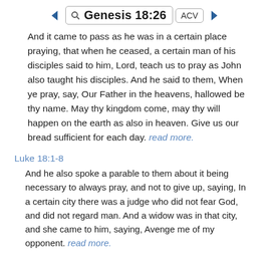Genesis 18:26  ACV
And it came to pass as he was in a certain place praying, that when he ceased, a certain man of his disciples said to him, Lord, teach us to pray as John also taught his disciples. And he said to them, When ye pray, say, Our Father in the heavens, hallowed be thy name. May thy kingdom come, may thy will happen on the earth as also in heaven. Give us our bread sufficient for each day. read more.
Luke 18:1-8
And he also spoke a parable to them about it being necessary to always pray, and not to give up, saying, In a certain city there was a judge who did not fear God, and did not regard man. And a widow was in that city, and she came to him, saying, Avenge me of my opponent. read more.